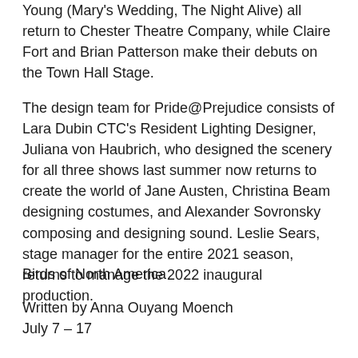Young (Mary's Wedding, The Night Alive) all return to Chester Theatre Company, while Claire Fort and Brian Patterson make their debuts on the Town Hall Stage.
The design team for Pride@Prejudice consists of Lara Dubin CTC's Resident Lighting Designer, Juliana von Haubrich, who designed the scenery for all three shows last summer now returns to create the world of Jane Austen, Christina Beam designing costumes, and Alexander Sovronsky composing and designing sound. Leslie Sears, stage manager for the entire 2021 season, returns to manage the 2022 inaugural production.
Birds of North America
Written by Anna Ouyang Moench
July 7 – 17